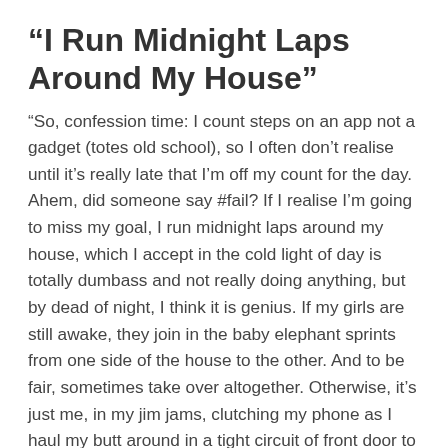“I Run Midnight Laps Around My House”
“So, confession time: I count steps on an app not a gadget (totes old school), so I often don’t realise until it’s really late that I’m off my count for the day. Ahem, did someone say #fail? If I realise I’m going to miss my goal, I run midnight laps around my house, which I accept in the cold light of day is totally dumbass and not really doing anything, but by dead of night, I think it is genius. If my girls are still awake, they join in the baby elephant sprints from one side of the house to the other. And to be fair, sometimes take over altogether. Otherwise, it’s just me, in my jim jams, clutching my phone as I haul my butt around in a tight circuit of front door to back door, around the garden. Repeat. Would love to know what the neighbours think if they hear me slip-slapping across the outside deck…